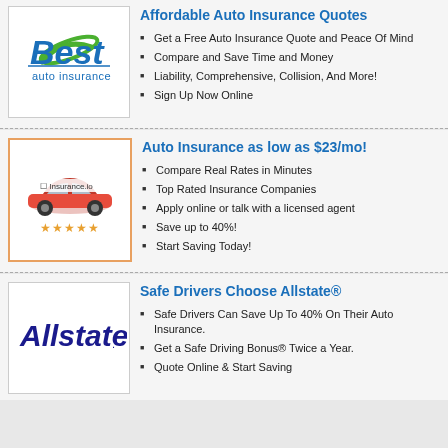[Figure (logo): Best Auto Insurance logo with blue italic 'Best' text and green swoosh graphic, 'auto insurance' text below]
Affordable Auto Insurance Quotes
Get a Free Auto Insurance Quote and Peace Of Mind
Compare and Save Time and Money
Liability, Comprehensive, Collision, And More!
Sign Up Now Online
[Figure (photo): Insurance.io ad card with red car image, Insurance.io logo, and 5 star rating]
Auto Insurance as low as $23/mo!
Compare Real Rates in Minutes
Top Rated Insurance Companies
Apply online or talk with a licensed agent
Save up to 40%!
Start Saving Today!
[Figure (logo): Allstate logo in dark blue italic serif text with registered trademark symbol]
Safe Drivers Choose Allstate®
Safe Drivers Can Save Up To 40% On Their Auto Insurance.
Get a Safe Driving Bonus® Twice a Year.
Quote Online & Start Saving